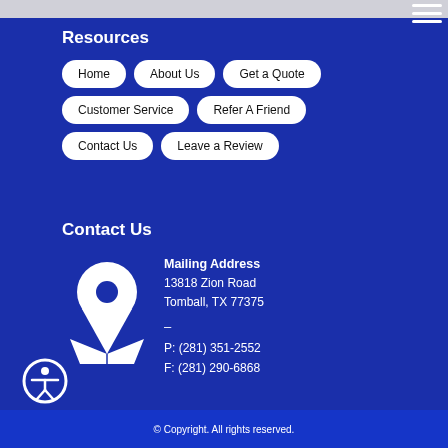Resources
Home
About Us
Get a Quote
Customer Service
Refer A Friend
Contact Us
Leave a Review
Contact Us
Mailing Address
13818 Zion Road
Tomball, TX 77375
–
P: (281) 351-2552
F: (281) 290-6868
© Copyright. All rights reserved.